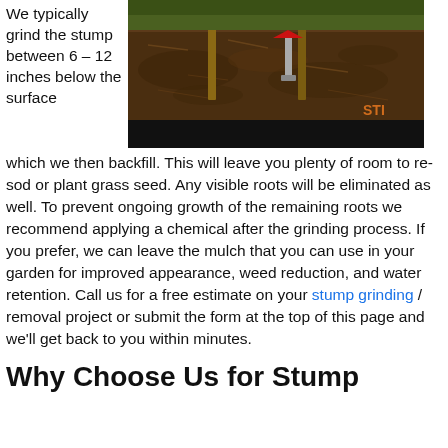We typically grind the stump between 6 – 12 inches below the surface
[Figure (photo): Stump grinding result showing mulch/wood chips spread on ground with wooden stakes and a red sign visible, with a black bar at the bottom]
which we then backfill. This will leave you plenty of room to re-sod or plant grass seed. Any visible roots will be eliminated as well. To prevent ongoing growth of the remaining roots we recommend applying a chemical after the grinding process. If you prefer, we can leave the mulch that you can use in your garden for improved appearance, weed reduction, and water retention. Call us for a free estimate on your stump grinding / removal project or submit the form at the top of this page and we'll get back to you within minutes.
Why Choose Us for Stump